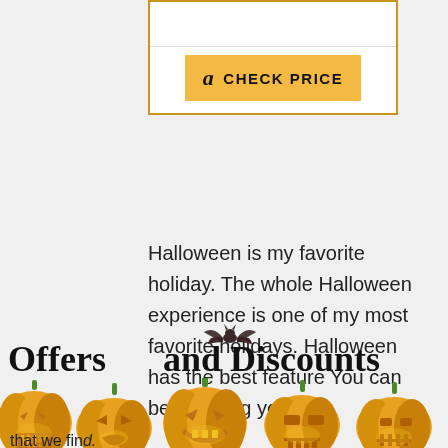[Figure (other): Amazon product box with CHECK PRICE button in golden color with Amazon 'a' logo]
Halloween is my favorite holiday. The whole Halloween experience is one of my most favorite holidays. Halloween has the best feature You can be anything you like!
Offers and Discounts
[Figure (illustration): A row of five jack-o-lantern pumpkins with glowing faces in orange and yellow]
that we fin...